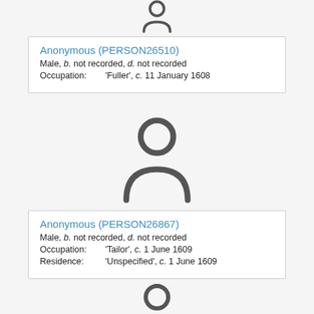[Figure (illustration): Generic person silhouette icon (top, partially cropped)]
Anonymous (PERSON26510)
Male, b. not recorded, d. not recorded
Occupation: 'Fuller', c. 11 January 1608
[Figure (illustration): Generic person silhouette icon (middle)]
Anonymous (PERSON26867)
Male, b. not recorded, d. not recorded
Occupation: 'Tailor', c. 1 June 1609
Residence: 'Unspecified', c. 1 June 1609
[Figure (illustration): Generic person silhouette icon (bottom, partially cropped)]